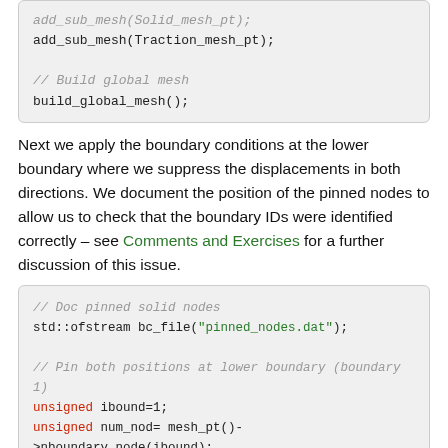[Figure (screenshot): Code block snippet showing add_sub_mesh(Traction_mesh_pt); and // Build global mesh build_global_mesh(); in monospace font on light grey background]
Next we apply the boundary conditions at the lower boundary where we suppress the displacements in both directions. We document the position of the pinned nodes to allow us to check that the boundary IDs were identified correctly – see Comments and Exercises for a further discussion of this issue.
[Figure (screenshot): Code block showing: // Doc pinned solid nodes, std::ofstream bc_file("pinned_nodes.dat");, // Pin both positions at lower boundary (boundary 1), unsigned ibound=1;, unsigned num_nod= mesh_pt()->nboundary_node(ibound);, for (unsigned inod=0;inod<num_nod;inod++), {, // Get node, SolidNode* nod_pt=Solid_mesh_pt->boundary_node_pt(ibo, // Pin both directions, for (unsigned i=0;i<2;i++)]